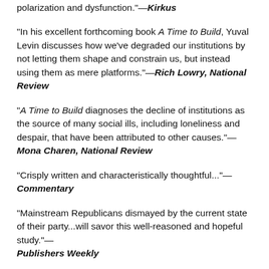polarization and dysfunction."—Kirkus
"In his excellent forthcoming book A Time to Build, Yuval Levin discusses how we've degraded our institutions by not letting them shape and constrain us, but instead using them as mere platforms."—Rich Lowry, National Review
"A Time to Build diagnoses the decline of institutions as the source of many social ills, including loneliness and despair, that have been attributed to other causes."—Mona Charen, National Review
"Crisply written and characteristically thoughtful..."—Commentary
"Mainstream Republicans dismayed by the current state of their party...will savor this well-reasoned and hopeful study."—Publishers Weekly
"In a political moment focused only on tearing down, Yuval Levin shows the necessity and the promise of institution-building. This book is an essential starting point toward an